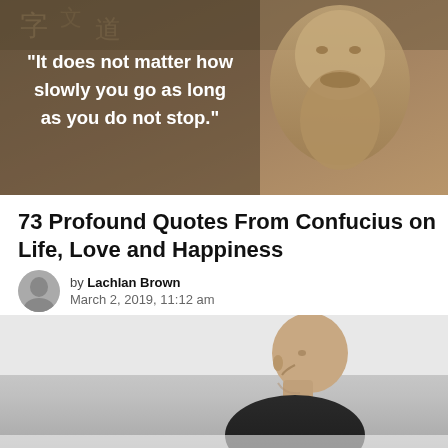[Figure (photo): A stone statue of Confucius with Chinese characters carved in background. Bold white text overlay reads: "It does not matter how slowly you go as long as you do not stop."]
73 Profound Quotes From Confucius on Life, Love and Happiness
by Lachlan Brown
March 2, 2019, 11:12 am
[Figure (photo): A bald man in dark clothing meditating or in contemplative pose, shown in profile view against a light grey background. The image is cropped showing his head and upper body.]